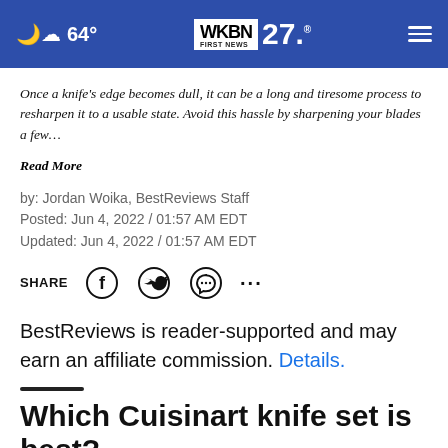64° WKBN FIRST NEWS 27.
Once a knife's edge becomes dull, it can be a long and tiresome process to resharpen it to a usable state. Avoid this hassle by sharpening your blades a few… Read More
by: Jordan Woika, BestReviews Staff
Posted: Jun 4, 2022 / 01:57 AM EDT
Updated: Jun 4, 2022 / 01:57 AM EDT
SHARE
BestReviews is reader-supported and may earn an affiliate commission. Details.
Which Cuisinart knife set is best?